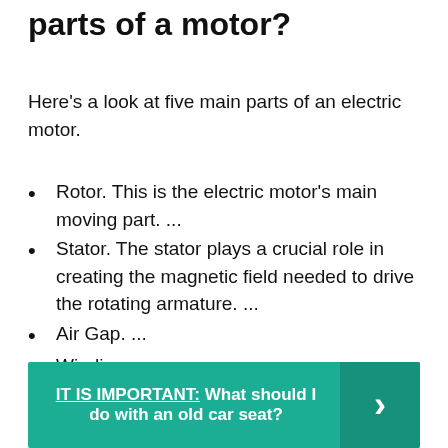parts of a motor?
Here's a look at five main parts of an electric motor.
Rotor. This is the electric motor's main moving part. ...
Stator. The stator plays a crucial role in creating the magnetic field needed to drive the rotating armature. ...
Air Gap. ...
Windings. ...
Commutator.
IT IS IMPORTANT: What should I do with an old car seat?